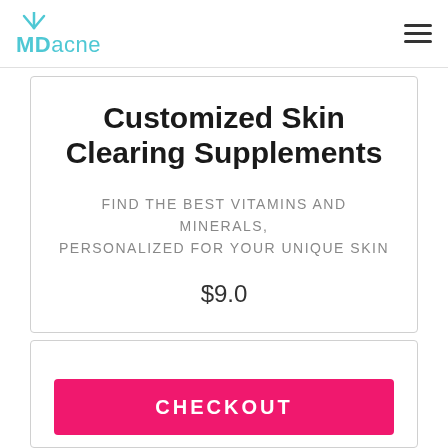MDacne
Customized Skin Clearing Supplements
FIND THE BEST VITAMINS AND MINERALS, PERSONALIZED FOR YOUR UNIQUE SKIN
$9.0
CHECKOUT